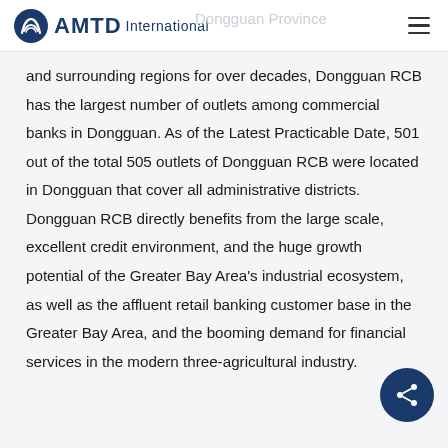AMTD International
and surrounding regions for over decades, Dongguan RCB has the largest number of outlets among commercial banks in Dongguan. As of the Latest Practicable Date, 501 out of the total 505 outlets of Dongguan RCB were located in Dongguan that cover all administrative districts. Dongguan RCB directly benefits from the large scale, excellent credit environment, and the huge growth potential of the Greater Bay Area's industrial ecosystem, as well as the affluent retail banking customer base in the Greater Bay Area, and the booming demand for financial services in the modern three-agricultural industry.